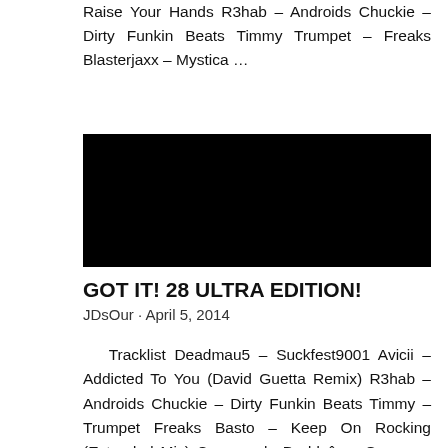Raise Your Hands R3hab – Androids Chuckie – Dirty Funkin Beats Timmy Trumpet – Freaks Blasterjaxx – Mystica …
[Figure (photo): Black rectangle image, content not visible]
GOT IT! 28 ULTRA EDITION!
JDsOur · April 5, 2014
Tracklist Deadmau5 – Suckfest9001 Avicii – Addicted To You (David Guetta Remix) R3hab – Androids Chuckie – Dirty Funkin Beats Timmy – Trumpet Freaks Basto – Keep On Rocking (Extended Mix) Congorock, Daddyâ s Groove – Synthemilk (Extended Mix) Sander Van Doorn,